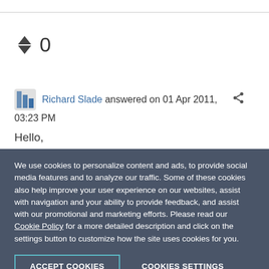[Figure (other): Vote up/down arrows with vote count 0]
Richard Slade answered on 01 Apr 2011, 03:23 PM
Hello,
We use cookies to personalize content and ads, to provide social media features and to analyze our traffic. Some of these cookies also help improve your user experience on our websites, assist with navigation and your ability to provide feedback, and assist with our promotional and marketing efforts. Please read our Cookie Policy for a more detailed description and click on the settings button to customize how the site uses cookies for you.
ACCEPT COOKIES
COOKIES SETTINGS